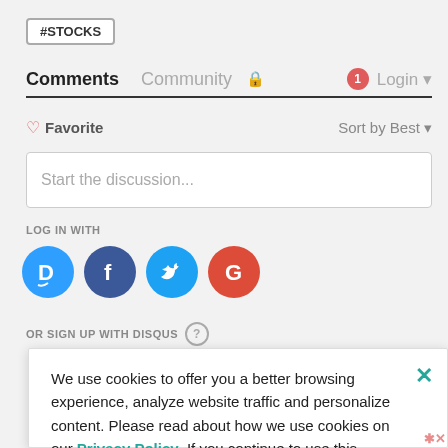#STOCKS
Comments  Community  🔒  1  Login
♡ Favorite    Sort by Best ▾
Start the discussion...
LOG IN WITH
[Figure (illustration): Social login icons: Disqus (blue circle with D), Facebook (dark blue circle with f), Twitter (light blue circle with bird), Google (red circle with G)]
OR SIGN UP WITH DISQUS ?
We use cookies to offer you a better browsing experience, analyze website traffic and personalize content. Please read about how we use cookies on our Privacy Policy. If you continue to use this website, you agree to our use of cookies.